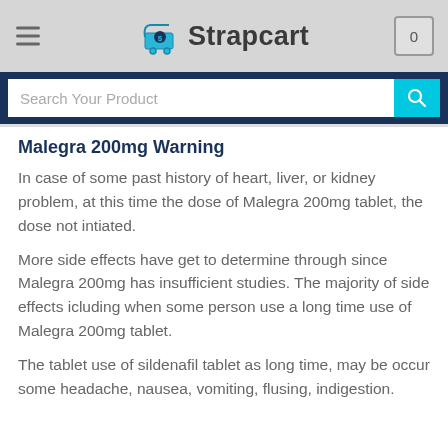Strapcart
Search Your Product
Malegra 200mg Warning
In case of some past history of heart, liver, or kidney problem, at this time the dose of Malegra 200mg tablet, the dose not intiated.
More side effects have get to determine through since Malegra 200mg has insufficient studies. The majority of side effects icluding when some person use a long time use of Malegra 200mg tablet.
The tablet use of sildenafil tablet as long time, may be occur some headache, nausea, vomiting, flusing, indigestion.